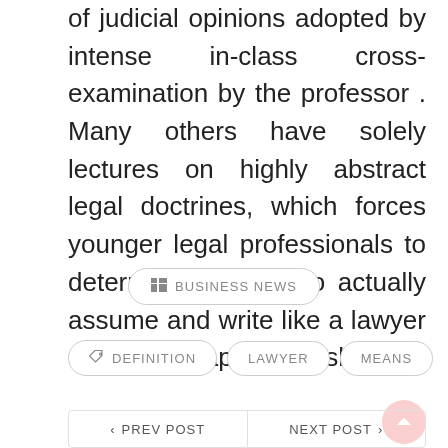of judicial opinions adopted by intense in-class cross-examination by the professor . Many others have solely lectures on highly abstract legal doctrines, which forces younger legal professionals to determine the way to actually assume and write like a lawyer at their first apprenticeship .
BUSINESS NEWS
DEFINITION  LAWYER  MEANS
< PREV POST    NEXT POST >